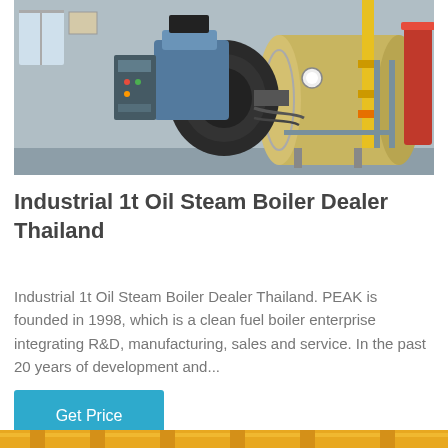[Figure (photo): Industrial oil steam boiler equipment in a factory setting, showing large cylindrical boiler tank, burner assembly, yellow gas pipe, and supporting steel frame structure against a light blue wall background.]
Industrial 1t Oil Steam Boiler Dealer Thailand
Industrial 1t Oil Steam Boiler Dealer Thailand. PEAK is founded in 1998, which is a clean fuel boiler enterprise integrating R&D, manufacturing, sales and service. In the past 20 years of development and...
Get Price
[Figure (photo): Bottom strip showing yellow industrial equipment, partially visible at the bottom of the page.]